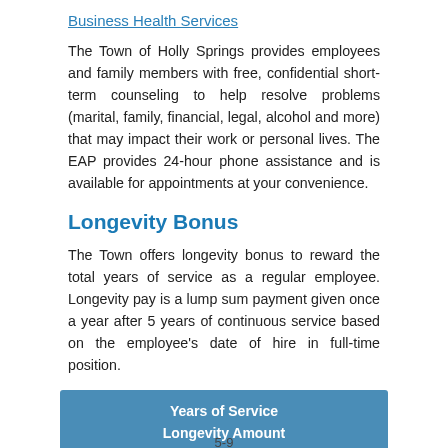Business Health Services
The Town of Holly Springs provides employees and family members with free, confidential short-term counseling to help resolve problems (marital, family, financial, legal, alcohol and more) that may impact their work or personal lives. The EAP provides 24-hour phone assistance and is available for appointments at your convenience.
Longevity Bonus
The Town offers longevity bonus to reward the total years of service as a regular employee. Longevity pay is a lump sum payment given once a year after 5 years of continuous service based on the employee's date of hire in full-time position.
| Years of Service | Longevity Amount |
| --- | --- |
5-9